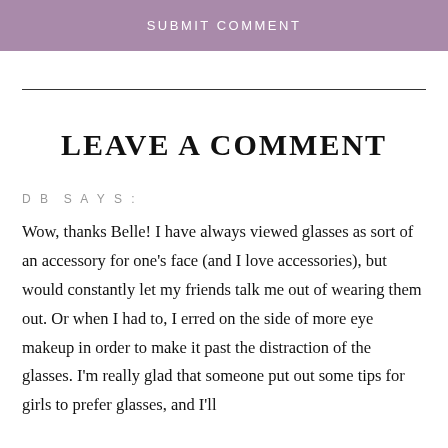SUBMIT COMMENT
LEAVE A COMMENT
DB SAYS:
Wow, thanks Belle! I have always viewed glasses as sort of an accessory for one's face (and I love accessories), but would constantly let my friends talk me out of wearing them out. Or when I had to, I erred on the side of more eye makeup in order to make it past the distraction of the glasses. I'm really glad that someone put out some tips for girls to prefer glasses, and I'll